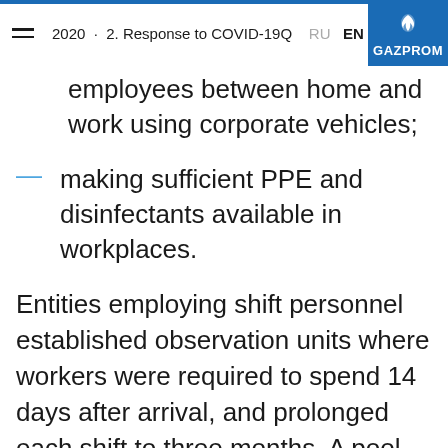2020 · 2. Response to COVID-19Q  RU  EN  GAZPROM
employees between home and work using corporate vehicles;
making sufficient PPE and disinfectants available in workplaces.
Entities employing shift personnel established observation units where workers were required to spend 14 days after arrival, and prolonged each shift to three months. A pool